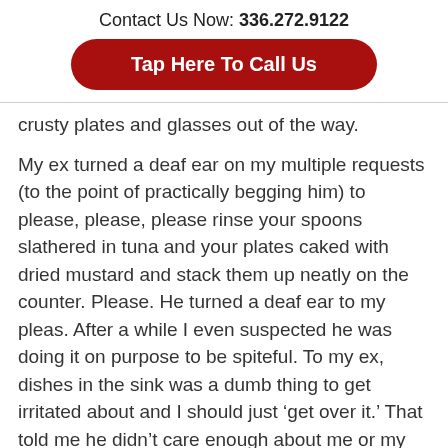Contact Us Now: 336.272.9122
Tap Here To Call Us
crusty plates and glasses out of the way.

My ex turned a deaf ear on my multiple requests (to the point of practically begging him) to please, please, please rinse your spoons slathered in tuna and your plates caked with dried mustard and stack them up neatly on the counter. Please. He turned a deaf ear to my pleas. After a while I even suspected he was doing it on purpose to be spiteful. To my ex, dishes in the sink was a dumb thing to get irritated about and I should just ‘get over it.’ That told me he didn’t care enough about me or my feelings to change